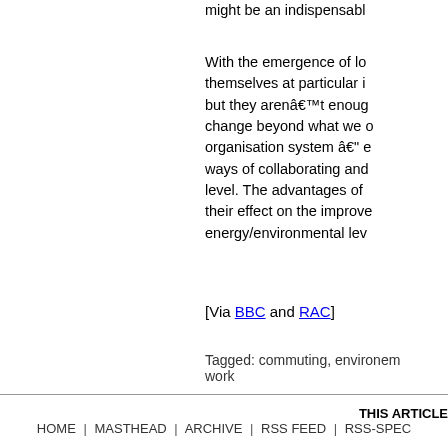might be an indispensable With the emergence of lo- themselves at particular i- but they arenâ€™t enoug- change beyond what we o- organisation system â€" e- ways of collaborating and level. The advantages of their effect on the improve- energy/environmental lev-
[Via BBC and RAC]
Tagged: commuting, environem- work
THIS ARTICLE
HOME | MASTHEAD | ARCHIVE | RSS FEED | RSS-SPEC